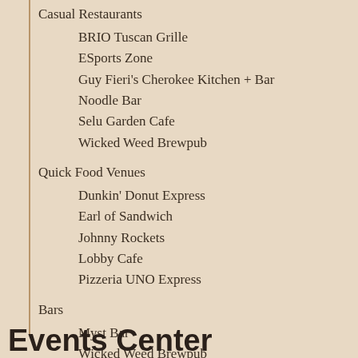Casual Restaurants
BRIO Tuscan Grille
ESports Zone
Guy Fieri's Cherokee Kitchen + Bar
Noodle Bar
Selu Garden Cafe
Wicked Weed Brewpub
Quick Food Venues
Dunkin' Donut Express
Earl of Sandwich
Johnny Rockets
Lobby Cafe
Pizzeria UNO Express
Bars
Myst Bar
Wicked Weed Brewpub
Events Center